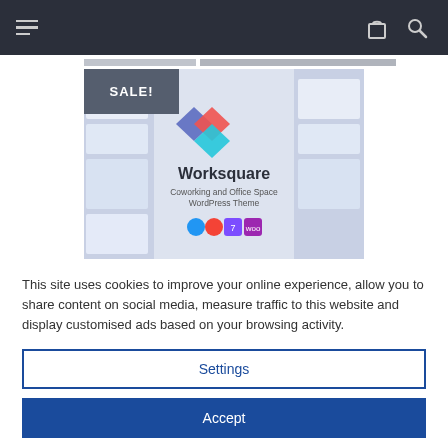Navigation bar with hamburger menu, shopping bag icon, and search icon
[Figure (screenshot): Worksquare – Coworking and Office Space WordPress Theme product preview image with SALE! badge, showing the theme logo and mockup screens]
This site uses cookies to improve your online experience, allow you to share content on social media, measure traffic to this website and display customised ads based on your browsing activity.
Settings
Accept